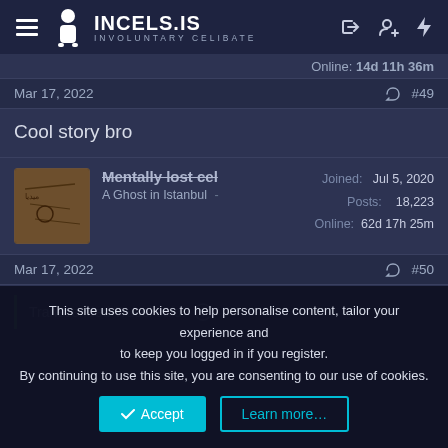INCELS.IS INVOLUNTARY CELIBATE
Online: 14d 11h 36m
Mar 17, 2022  #49
Cool story bro
Mentally lost cel  A Ghost in Istanbul  —  Joined: Jul 5, 2020  Posts: 18,223  Online: 62d 17h 25m
Mar 17, 2022  #50
Transcended Trucel said:
This site uses cookies to help personalise content, tailor your experience and to keep you logged in if you register. By continuing to use this site, you are consenting to our use of cookies.